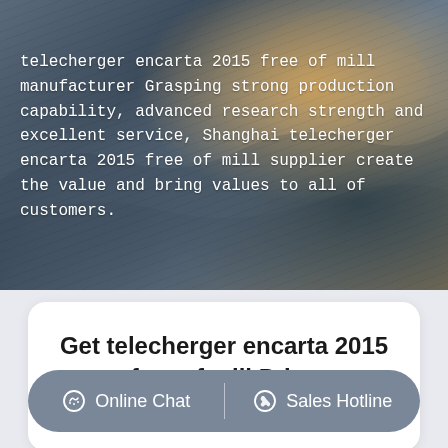[Figure (photo): Aerial view of a mining site with heavy equipment, rocky terrain, and earthworks. Dark gray and brown tones with construction machinery visible.]
telecherger encarta 2015 free of mill manufacturer Grasping strong production capability, advanced research strength and excellent service, Shanghai telecherger encarta 2015 free of mill supplier create the value and bring values to all of customers.
Get telecherger encarta 2015 free of mill Price supplier@pfpew.com
Online Chat   Sales Hotline